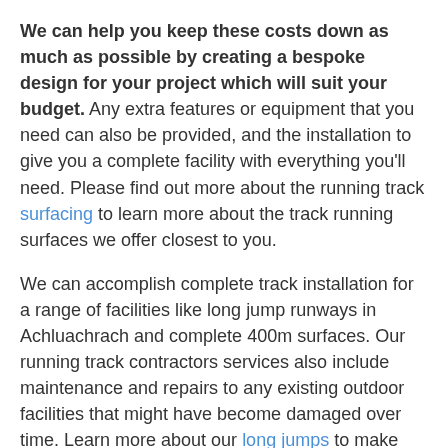We can help you keep these costs down as much as possible by creating a bespoke design for your project which will suit your budget. Any extra features or equipment that you need can also be provided, and the installation to give you a complete facility with everything you'll need. Please find out more about the running track surfacing to learn more about the track running surfaces we offer closest to you.
We can accomplish complete track installation for a range of facilities like long jump runways in Achluachrach and complete 400m surfaces. Our running track contractors services also include maintenance and repairs to any existing outdoor facilities that might have become damaged over time. Learn more about our long jumps to make the most out of your athletics track running facility.
Please feel free to use our contact form to get in touch with us if you would like a quote for a track installation project or any further questions about athletics surfacing and the other sports facilities. One of our team members will be happy to send you more information on all of our sporting facility products and